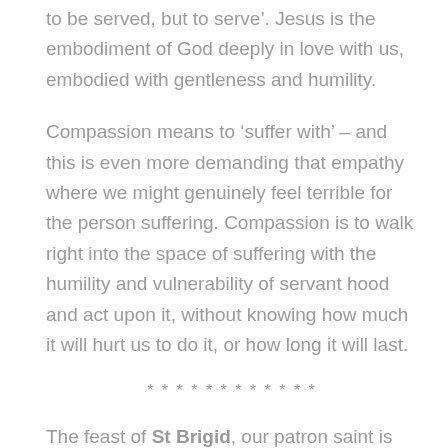to be served, but to serve'. Jesus is the embodiment of God deeply in love with us, embodied with gentleness and humility.
Compassion means to 'suffer with' – and this is even more demanding that empathy where we might genuinely feel terrible for the person suffering. Compassion is to walk right into the space of suffering with the humility and vulnerability of servant hood and act upon it, without knowing how much it will hurt us to do it, or how long it will last.
* * * * * * * * * * * *
The feast of St Brigid, our patron saint is celebrated